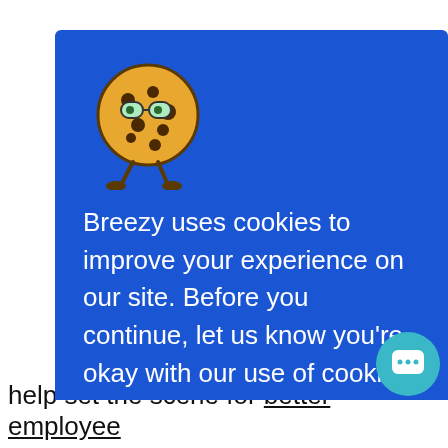ging. And future your ter time u have to rs of oce
[Figure (illustration): Blue cookie consent modal overlay with animated cookie mascot (round cookie character with glasses and legs). Modal contains text about cookie usage policy, a Privacy Policy link, and an 'Awesome 😀' accept button in pink/red.]
Breezy uses cookies to improve your experience on our site. Before you continue, let us know you're okay with our use of cookies, in accordance with our Privacy Policy.
Awesome 🍪
help set the scene for better employee